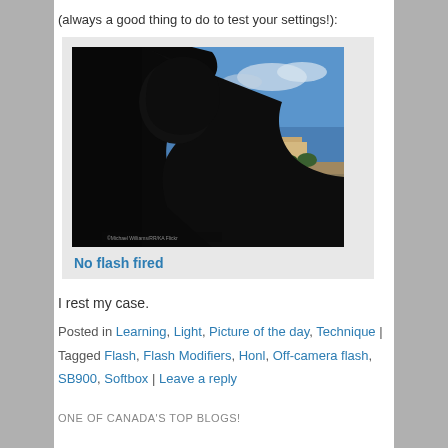(always a good thing to do to test your settings!):
[Figure (photo): Silhouette of a person's head against a bright outdoor background with blue sky, desert landscape, and a parking lot. The foreground is very dark/black showing an underexposed subject. Caption reads 'No flash fired'.]
No flash fired
I rest my case.
Posted in Learning, Light, Picture of the day, Technique | Tagged Flash, Flash Modifiers, Honl, Off-camera flash, SB900, Softbox | Leave a reply
ONE OF CANADA'S TOP BLOGS!